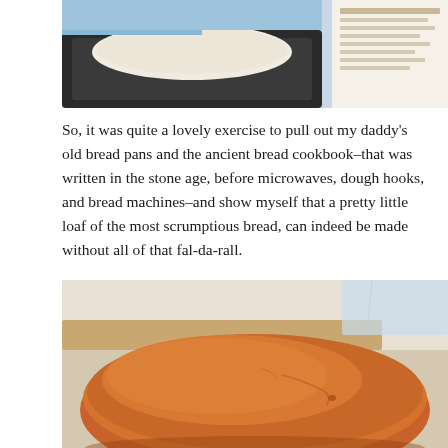[Figure (photo): Photo of bread dough in a dark bread pan, with a recipe or cookbook page visible in the upper right corner, and blue sky visible in the background.]
So, it was quite a lovely exercise to pull out my daddy's old bread pans and the ancient bread cookbook–that was written in the stone age, before microwaves, dough hooks, and bread machines–and show myself that a pretty little loaf of the most scrumptious bread, can indeed be made without all of that fal-da-rall.

I'm really good at run-on sentences. Be brave.
[Figure (photo): Close-up photo of a baked golden-brown bread loaf, showing its rounded top crust with natural cracks and texture, sitting on a wooden cutting board.]